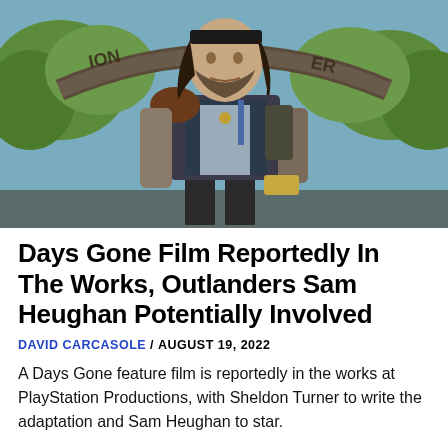[Figure (photo): Screenshot from Days Gone video game showing the main character Deacon St. John standing in front of an arched sign, wearing a biker vest and looking upward. Background shows trees and blue sky.]
Days Gone Film Reportedly In The Works, Outlanders Sam Heughan Potentially Involved
DAVID CARCASOLE / AUGUST 19, 2022
A Days Gone feature film is reportedly in the works at PlayStation Productions, with Sheldon Turner to write the adaptation and Sam Heughan to star.